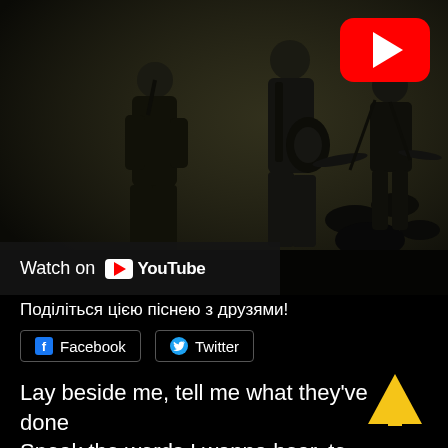[Figure (screenshot): Music video thumbnail showing silhouettes of band members performing, with YouTube play button in top right corner and 'Watch on YouTube' bar at bottom left]
Поділіться цією піснею з друзями!
[Figure (infographic): Facebook and Twitter share buttons]
Lay beside me, tell me what they've done
Speak the words I wanna hear, to make my demons run
The door is locked now, but it's opened if you're true
If you can understand the me